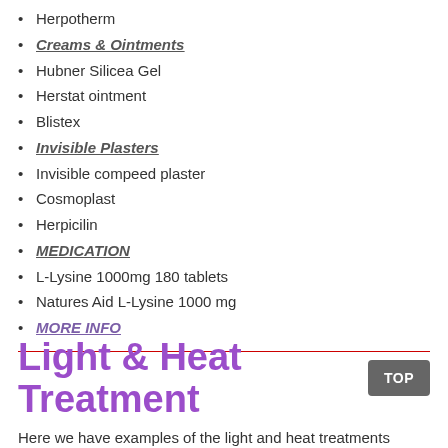Herpotherm
Creams & Ointments
Hubner Silicea Gel
Herstat ointment
Blistex
Invisible Plasters
Invisible compeed plaster
Cosmoplast
Herpicilin
MEDICATION
L-Lysine 1000mg 180 tablets
Natures Aid L-Lysine 1000 mg
MORE INFO
Light & Heat Treatment
Here we have examples of the light and heat treatments